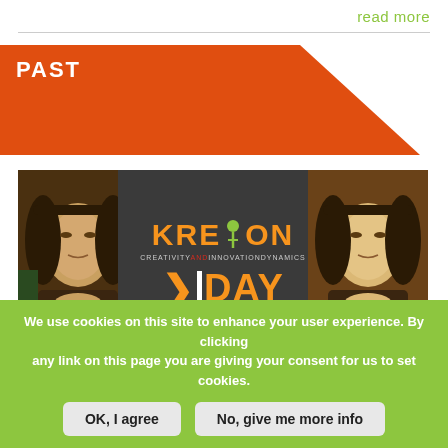read more
PAST
[Figure (photo): Kreyon Workshop banner showing Kreyon KiDay logo in center on dark background, with Mona Lisa image on left and right sides]
THE KREYON WORKSHOP
Bringing together perspectives from physics,
We use cookies on this site to enhance your user experience. By clicking any link on this page you are giving your consent for us to set cookies.
OK, I agree
No, give me more info